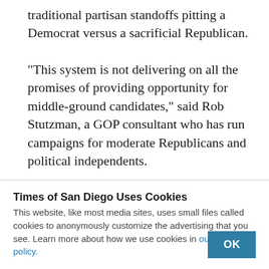traditional partisan standoffs pitting a Democrat versus a sacrificial Republican.

“This system is not delivering on all the promises of providing opportunity for middle-ground candidates,” said Rob Stutzman, a GOP consultant who has run campaigns for moderate Republicans and political independents.
Times of San Diego Uses Cookies
This website, like most media sites, uses small files called cookies to anonymously customize the advertising that you see. Learn more about how we use cookies in our cookie policy.